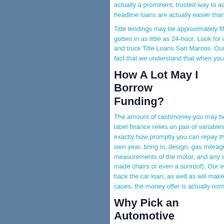actually a prominent, trusted way to ac... headline loans are actually easier than...
Title lendings may be approximately fif... gotten in as little as 24-hour. Look for c... and truck Title Loans San Marcos. Our... fact that we understand that when you...
How A Lot May I Borrow Funding?
The amount of cashmoney you may bo... label finance relies on pair of variables... exactly how promptly you can repay th... own year, bring in, design, gas mileage... measurements of the motor, and any s... made chairs or even a sunroof). Our e... back the car loan, as well as will make... cases, the money offer is actually norm...
Why Pick an Automotive Of Money Car Title Finan...
Withover 5 years of knowledge, Quick... Nationwide Vehicle title funding referra... customers and loan providers to enh...